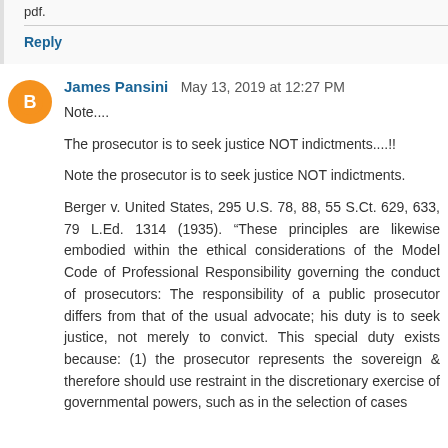pdf.
Reply
James Pansini   May 13, 2019 at 12:27 PM
Note....

The prosecutor is to seek justice NOT indictments....!!

Note the prosecutor is to seek justice NOT indictments.

Berger v. United States, 295 U.S. 78, 88, 55 S.Ct. 629, 633, 79 L.Ed. 1314 (1935). “These principles are likewise embodied within the ethical considerations of the Model Code of Professional Responsibility governing the conduct of prosecutors: The responsibility of a public prosecutor differs from that of the usual advocate; his duty is to seek justice, not merely to convict. This special duty exists because: (1) the prosecutor represents the sovereign & therefore should use restraint in the discretionary exercise of governmental powers, such as in the selection of cases